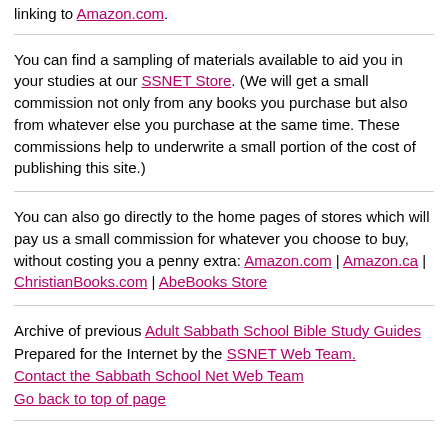linking to Amazon.com.
You can find a sampling of materials available to aid you in your studies at our SSNET Store. (We will get a small commission not only from any books you purchase but also from whatever else you purchase at the same time. These commissions help to underwrite a small portion of the cost of publishing this site.)
You can also go directly to the home pages of stores which will pay us a small commission for whatever you choose to buy, without costing you a penny extra: Amazon.com | Amazon.ca | ChristianBooks.com | AbeBooks Store
Archive of previous Adult Sabbath School Bible Study Guides
Prepared for the Internet by the SSNET Web Team.
Contact the Sabbath School Net Web Team
Go back to top of page